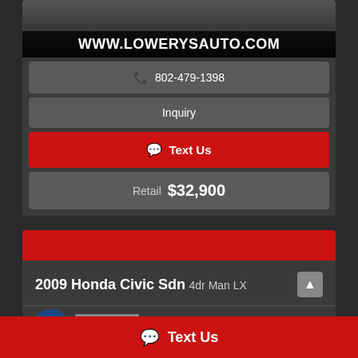[Figure (screenshot): Auto dealership website banner showing www.lowerysauto.com with a red car image and dark background]
802-479-1398
Inquiry
Text Us
Retail $32,900
[Figure (screenshot): Red banner bar for second listing card]
2009 Honda Civic Sdn 4dr Man LX
CALL: 802-479-1398
Text Us